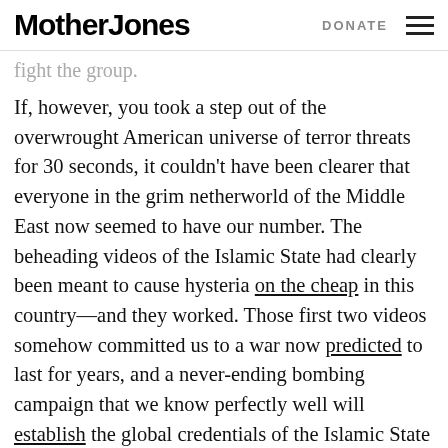Mother Jones | DONATE
fight the group.
If, however, you took a step out of the overwrought American universe of terror threats for 30 seconds, it couldn't have been clearer that everyone in the grim netherworld of the Middle East now seemed to have our number. The beheading videos of the Islamic State had clearly been meant to cause hysteria on the cheap in this country—and they worked. Those first two videos somehow committed us to a war now predicted to last for years, and a never-ending bombing campaign that we know perfectly well will establish the global credentials of the Islamic State and its mad caliph in jihadist circles. (In fact, the evidence is already in. From